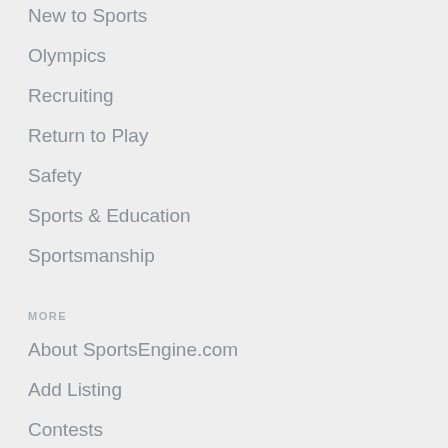New to Sports
Olympics
Recruiting
Return to Play
Safety
Sports & Education
Sportsmanship
MORE
About SportsEngine.com
Add Listing
Contests
RSS
Submit an Article